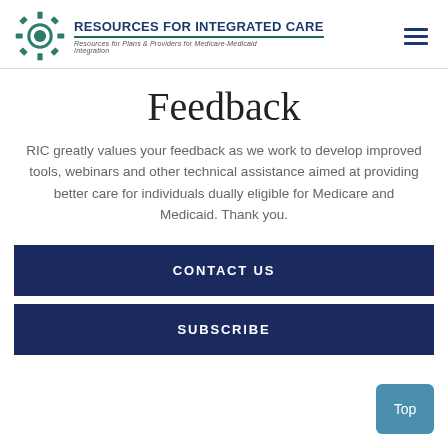Resources for Integrated Care — Resources for Plans & Providers for Medicare-Medicaid Integration
Feedback
RIC greatly values your feedback as we work to develop improved tools, webinars and other technical assistance aimed at providing better care for individuals dually eligible for Medicare and Medicaid. Thank you.
CONTACT US
SUBSCRIBE